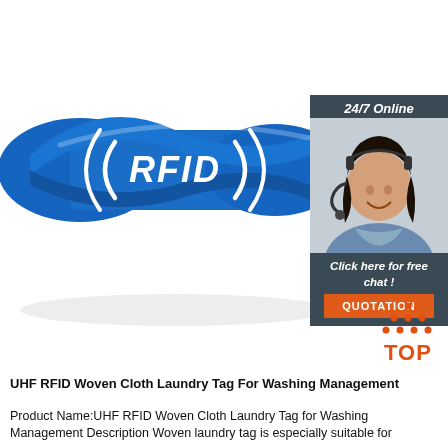[Figure (photo): Blue silicone RFID wristband with white RFID logo text and signal arc symbols on a white background]
[Figure (infographic): 24/7 Online chat widget with a female customer service agent wearing headset, 'Click here for free chat!' text, and orange QUOTATION button]
[Figure (other): Orange TOP icon with dot-pattern triangle above the word TOP]
UHF RFID Woven Cloth Laundry Tag For Washing Management
Product Name:UHF RFID Woven Cloth Laundry Tag for Washing Management Description Woven laundry tag is especially suitable for